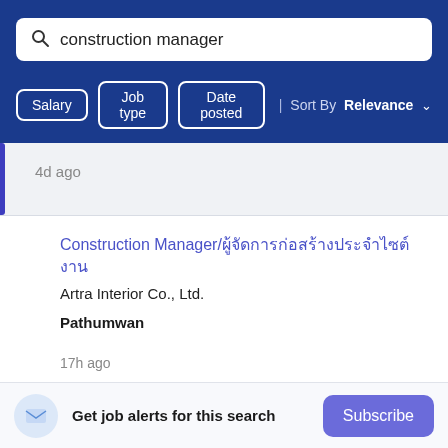construction manager
Salary | Job type | Date posted | Sort By Relevance
4d ago
Construction Manager/ผู้จัดการก่อสร้าง
Artra Interior Co., Ltd.
Pathumwan
17h ago
Get job alerts for this search
Subscribe